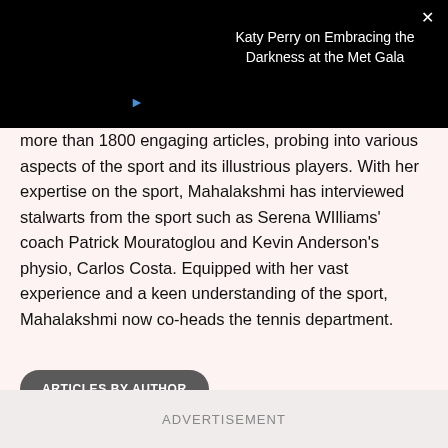[Figure (screenshot): Black bar with video thumbnail area showing a blue play arrow and a video title overlay reading 'Katy Perry on Embracing the Darkness at the Met Gala' with a close (X) button]
more than 1800 engaging articles, probing into various aspects of the sport and its illustrious players. With her expertise on the sport, Mahalakshmi has interviewed stalwarts from the sport such as Serena Williams' coach Patrick Mouratoglou and Kevin Anderson's physio, Carlos Costa. Equipped with her vast experience and a keen understanding of the sport, Mahalakshmi now co-heads the tennis department.
ARTICLES BY AUTHOR
ADVERTISEMENT